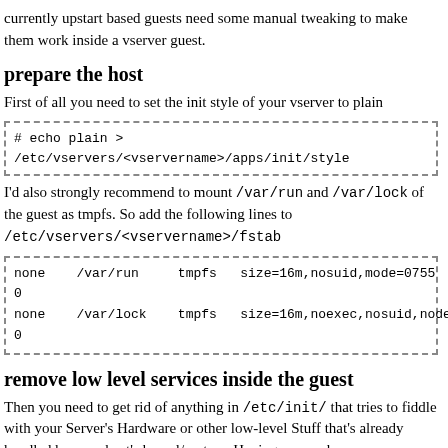currently upstart based guests need some manual tweaking to make them work inside a vserver guest.
prepare the host
First of all you need to set the init style of your vserver to plain
# echo plain > /etc/vservers/<vservername>/apps/init/style
I'd also strongly recommend to mount /var/run and /var/lock of the guest as tmpfs. So add the following lines to /etc/vservers/<vservername>/fstab
none    /var/run     tmpfs   size=16m,nosuid,mode=0755      0 0
none    /var/lock    tmpfs   size=16m,noexec,nosuid,nodev   0 0
remove low level services inside the guest
Then you need to get rid of anything in /etc/init/ that tries to fiddle with your Server's Hardware or other low-level Stuff that's already handled by your host's kernel/system. Having one such